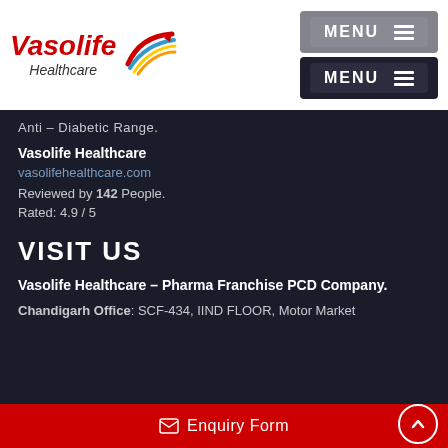[Figure (logo): Vasolife Healthcare logo with red italic text and colorful heart/swoosh graphic]
Anti – Diabetic Range.
Vasolife Healthcare
vasolifehealthcare.com
Reviewed by 142 People.
Rated: 4.9 / 5
VISIT US
Vasolife Healthcare – Pharma Franchise PCD Company.
Chandigarh Office: SCF-434, IIND FLOOR, Motor Market
Enquiry Form